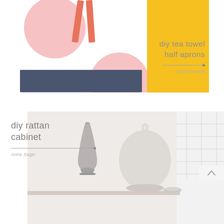[Figure (photo): DIY tea towel half aprons craft project card. White apron with large pink polka dots and coral/red neck tie straps worn over jeans, against a yellow background. Text overlay on the right side.]
diy tea towel half aprons
Sarah Hearts
[Figure (photo): DIY rattan cabinet home decor project card. A white shelf/cabinet surface with a small silver ornate vase and a large round white ceramic vase, against a light gray and white background with grid window blinds on the right.]
diy rattan cabinet
Anne Sage